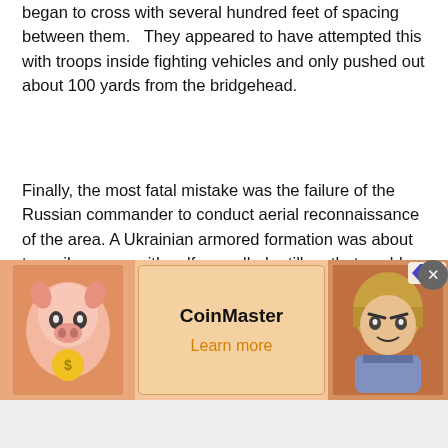began to cross with several hundred feet of spacing between them.   They appeared to have attempted this with troops inside fighting vehicles and only pushed out about 100 yards from the bridgehead.
Finally, the most fatal mistake was the failure of the Russian commander to conduct aerial reconnaissance of the area. A Ukrainian armored formation was about ten miles away with self-propelled artillery that could bring him under fire as his tanks and men crossed the bridge. That represented a major threat to the crossing attempt. It should have been attacked in advance of the crossing by air and artillery immediately before to cover his troops as they dashed across. It is also probable that his unit was under drone surveillance by Ukraine before, during, and after the attack. The inability or
[Figure (other): Advertisement banner for CoinMaster mobile game with pig mascot and warrior character images, 'Learn more' call to action, and close/ad badge buttons.]